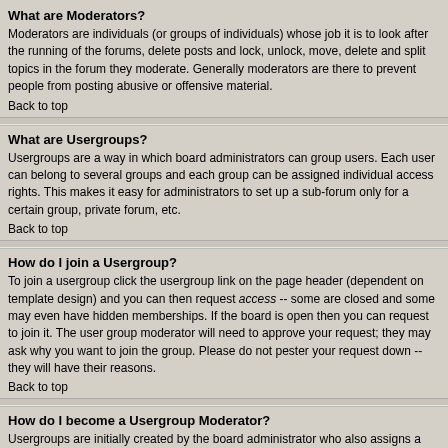What are Moderators?
Moderators are individuals (or groups of individuals) whose job it is to look after the running of the forums, delete posts and lock, unlock, move, delete and split topics in the forum they moderate. Generally moderators are there to prevent people from posting abusive or offensive material.
Back to top
What are Usergroups?
Usergroups are a way in which board administrators can group users. Each user can belong to several groups and each group can be assigned individual access rights. This makes it easy for administrators to set up a sub-forum only for a certain group, private forum, etc.
Back to top
How do I join a Usergroup?
To join a usergroup click the usergroup link on the page header (dependent on template design) and you can then request access -- some are closed and some may even have hidden memberships. If the board is open then you can request to join it. The user group moderator will need to approve your request; they may ask why you want to join the group. Please do not pester your request down -- they will have their reasons.
Back to top
How do I become a Usergroup Moderator?
Usergroups are initially created by the board administrator who also assigns a board moderator. If you want a group then point of contact should be the administrator, so try dropping them a private message.
Back to top
Private Messaging
I cannot send private messages!
There are three reasons for this; you are not registered and/or not logged on, the board administrator has disabled private messaging for the entire board, or the board administrator has prevented you individually from sending messages. If it is the latter c